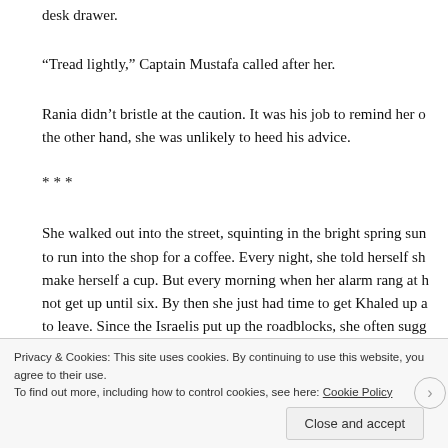desk drawer.
“Tread lightly,” Captain Mustafa called after her.
Rania didn’t bristle at the caution. It was his job to remind her o the other hand, she was unlikely to heed his advice.
***
She walked out into the street, squinting in the bright spring sun to run into the shop for a coffee. Every night, she told herself sh make herself a cup. But every morning when her alarm rang at h not get up until six. By then she just had time to get Khaled up a to leave. Since the Israelis put up the roadblocks, she often sugg d
Privacy & Cookies: This site uses cookies. By continuing to use this website, you agree to their use.
To find out more, including how to control cookies, see here: Cookie Policy
Close and accept